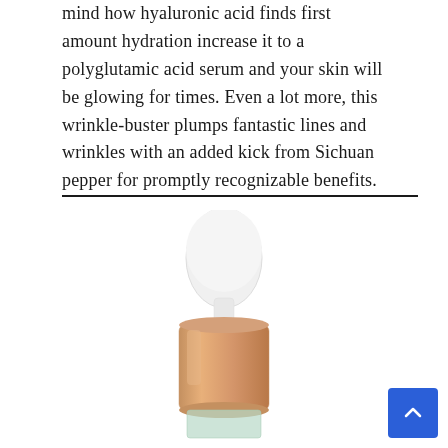mind how hyaluronic acid finds first amount hydration increase it to a polyglutamic acid serum and your skin will be glowing for times. Even a lot more, this wrinkle-buster plumps fantastic lines and wrinkles with an added kick from Sichuan pepper for promptly recognizable benefits.
[Figure (photo): A cosmetic serum dropper bottle with a white rounded dropper top and a rose gold/copper metallic cap, partially visible glass bottle below]